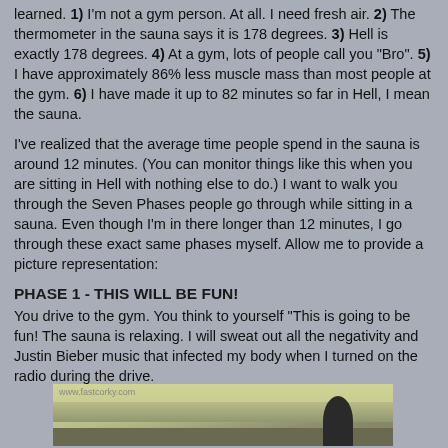learned. 1) I'm not a gym person. At all. I need fresh air. 2) The thermometer in the sauna says it is 178 degrees. 3) Hell is exactly 178 degrees. 4) At a gym, lots of people call you "Bro". 5) I have approximately 86% less muscle mass than most people at the gym. 6) I have made it up to 82 minutes so far in Hell, I mean the sauna.
I've realized that the average time people spend in the sauna is around 12 minutes. (You can monitor things like this when you are sitting in Hell with nothing else to do.) I want to walk you through the Seven Phases people go through while sitting in a sauna. Even though I'm in there longer than 12 minutes, I go through these exact same phases myself. Allow me to provide a picture representation:
PHASE 1 - THIS WILL BE FUN!
You drive to the gym. You think to yourself "This is going to be fun! The sauna is relaxing. I will sweat out all the negativity and Justin Bieber music that infected my body when I turned on the radio during the drive.
[Figure (photo): A photo of the interior of a sauna or gym, showing a ceiling/wall area with a dark silhouetted figure visible at bottom right. Watermark reads www.fastcorky.com]